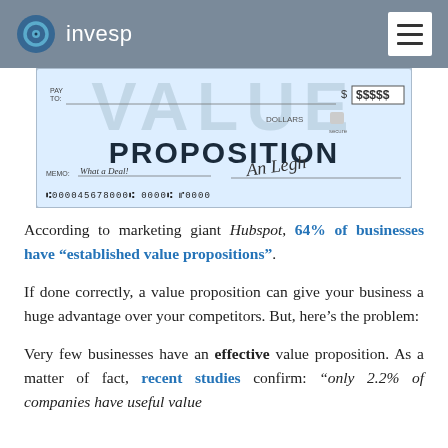invesp
[Figure (photo): Image of a check/cheque styled graphic with the words 'VALUE PROPOSITION' prominently displayed, along with 'PAY TO', '$$$$$', 'DOLLARS', 'MEMO: What a Deal!', a signature, and routing numbers ':000045678000 0000: 0000']
According to marketing giant Hubspot, 64% of businesses have “established value propositions”.
If done correctly, a value proposition can give your business a huge advantage over your competitors. But, here’s the problem:
Very few businesses have an effective value proposition. As a matter of fact, recent studies confirm: “only 2.2% of companies have useful value